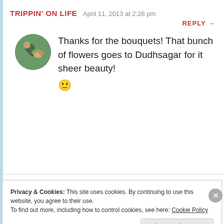TRIPPIN' ON LIFE   April 11, 2013 at 2:28 pm
REPLY →
[Figure (photo): Circular avatar photo of a person with a dog or animal outdoors]
Thanks for the bouquets! That bunch of flowers goes to Dudhsagar for it sheer beauty! 🙂
Privacy & Cookies: This site uses cookies. By continuing to use this website, you agree to their use.
To find out more, including how to control cookies, see here: Cookie Policy
Close and accept